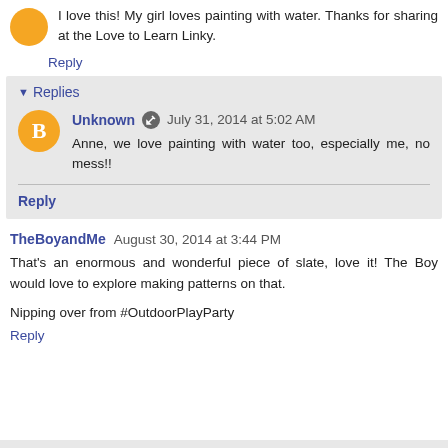I love this! My girl loves painting with water. Thanks for sharing at the Love to Learn Linky.
Reply
Replies
Unknown  July 31, 2014 at 5:02 AM
Anne, we love painting with water too, especially me, no mess!!
Reply
TheBoyandMe  August 30, 2014 at 3:44 PM
That's an enormous and wonderful piece of slate, love it! The Boy would love to explore making patterns on that.
Nipping over from #OutdoorPlayParty
Reply